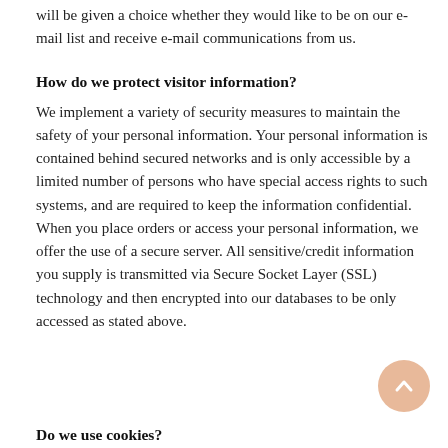will be given a choice whether they would like to be on our e-mail list and receive e-mail communications from us.
How do we protect visitor information?
We implement a variety of security measures to maintain the safety of your personal information. Your personal information is contained behind secured networks and is only accessible by a limited number of persons who have special access rights to such systems, and are required to keep the information confidential. When you place orders or access your personal information, we offer the use of a secure server. All sensitive/credit information you supply is transmitted via Secure Socket Layer (SSL) technology and then encrypted into our databases to be only accessed as stated above.
Do we use cookies?